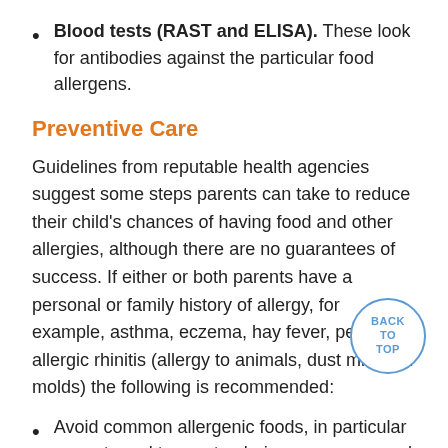Blood tests (RAST and ELISA). These look for antibodies against the particular food allergens.
Preventive Care
Guidelines from reputable health agencies suggest some steps parents can take to reduce their child’s chances of having food and other allergies, although there are no guarantees of success. If either or both parents have a personal or family history of allergy, for example, asthma, eczema, hay fever, perennial allergic rhinitis (allergy to animals, dust mites, or molds) the following is recommended:
Avoid common allergenic foods, in particular peanuts and tree nuts, during pregnancy and while